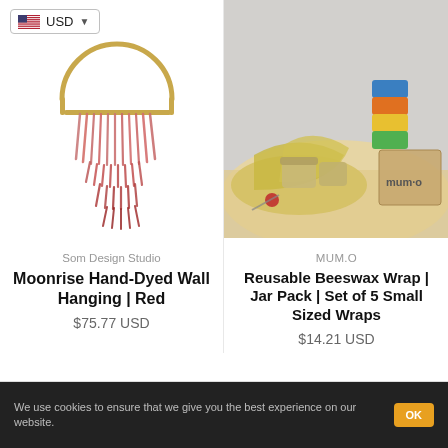[Figure (screenshot): USD currency selector badge with US flag and dropdown chevron]
[Figure (photo): Wall hanging art piece with rose/red dyed fringe strands arranged in tiered layers hanging from a gold semi-circular hoop, on white background]
Som Design Studio
Moonrise Hand-Dyed Wall Hanging | Red
$75.77 USD
[Figure (photo): Beeswax wraps folded around jars on a wooden board, with a stack of colorful mugs and a MUM.O branded box in the background]
MUM.O
Reusable Beeswax Wrap | Jar Pack | Set of 5 Small Sized Wraps
$14.21 USD
We use cookies to ensure that we give you the best experience on our website.